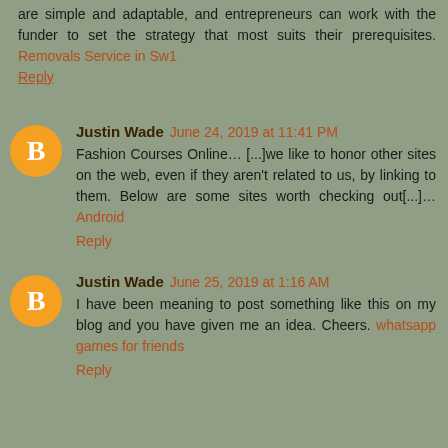are simple and adaptable, and entrepreneurs can work with the funder to set the strategy that most suits their prerequisites. Removals Service in Sw1
Reply
Justin Wade June 24, 2019 at 11:41 PM
Fashion Courses Online… [...]we like to honor other sites on the web, even if they aren't related to us, by linking to them. Below are some sites worth checking out[...]… Android
Reply
Justin Wade June 25, 2019 at 1:16 AM
I have been meaning to post something like this on my blog and you have given me an idea. Cheers. whatsapp games for friends
Reply